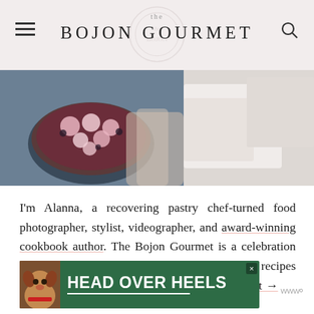the BOJON GOURMET
[Figure (photo): Food photography showing a berry tart/pie held by hands, split composition with a light-colored side]
I'm Alanna, a recovering pastry chef-turned food photographer, stylist, videographer, and award-winning cookbook author. The Bojon Gourmet is a celebration of the sweet, savory, and occasionally boozy recipes that I create in my San Francisco kitchen. About →
[Figure (screenshot): Advertisement banner with green background showing a dog and text 'HEAD OVER HEELS']